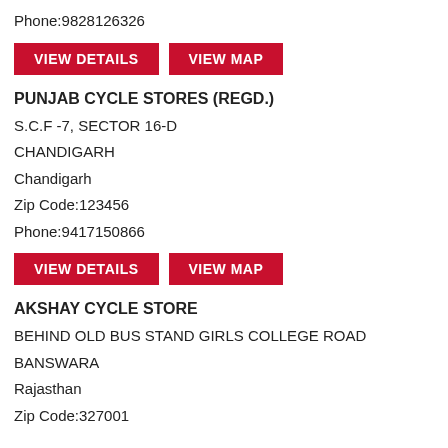Phone:9828126326
VIEW DETAILS | VIEW MAP
PUNJAB CYCLE STORES (REGD.)
S.C.F -7, SECTOR 16-D
CHANDIGARH
Chandigarh
Zip Code:123456
Phone:9417150866
VIEW DETAILS | VIEW MAP
AKSHAY CYCLE STORE
BEHIND OLD BUS STAND GIRLS COLLEGE ROAD
BANSWARA
Rajasthan
Zip Code:327001